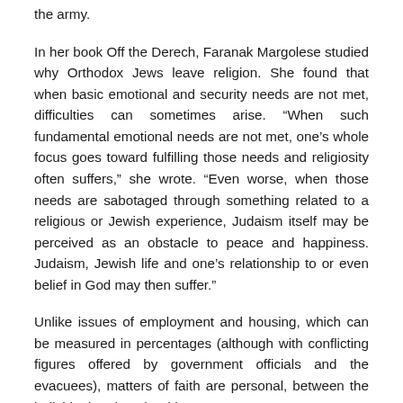the army.
In her book Off the Derech, Faranak Margolese studied why Orthodox Jews leave religion. She found that when basic emotional and security needs are not met, difficulties can sometimes arise. “When such fundamental emotional needs are not met, one's whole focus goes toward fulfilling those needs and religiosity often suffers,” she wrote. “Even worse, when those needs are sabotaged through something related to a religious or Jewish experience, Judaism itself may be perceived as an obstacle to peace and happiness. Judaism, Jewish life and one’s relationship to or even belief in God may then suffer.”
Unlike issues of employment and housing, which can be measured in percentages (although with conflicting figures offered by government officials and the evacuees), matters of faith are personal, between the individual and God. Without